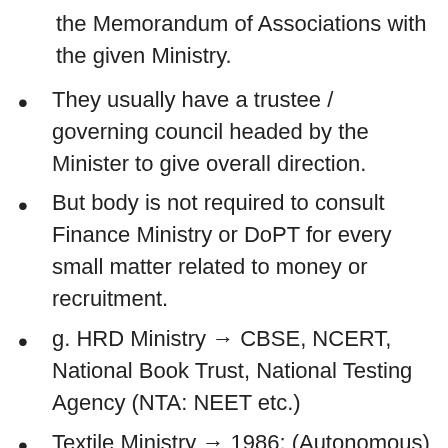the Memorandum of Associations with the given Ministry.
They usually have a trustee / governing council headed by the Minister to give overall direction.
But body is not required to consult Finance Ministry or DoPT for every small matter related to money or recruitment.
g. HRD Ministry → CBSE, NCERT, National Book Trust, National Testing Agency (NTA: NEET etc.)
Textile Ministry → 1986: (Autonomous)